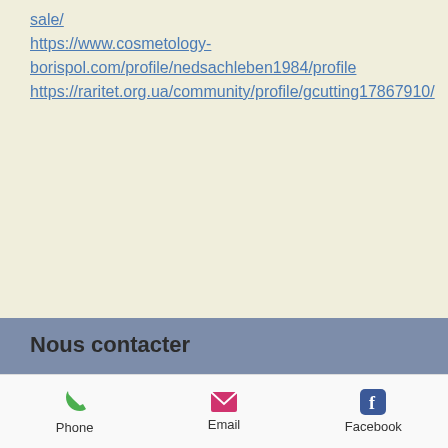sale/ https://www.cosmetology-borispol.com/profile/nedsachleben1984/profile https://raritet.org.ua/community/profile/gcutting17867910/
Nous contacter
52 bis, avenue Marc Urtin
26500 Bourg les valence
Tél : 04 75 42 94 09
[Figure (logo): Instagram icon - teal/dark square with camera icon in white]
sur Instagram
[Figure (infographic): Bottom navigation bar with Phone (green phone icon), Email (pink envelope icon), Facebook (blue Facebook icon)]